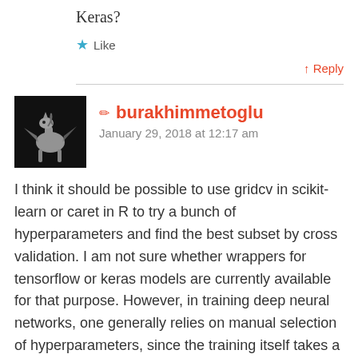Keras?
★ Like
↑ Reply
✏ burakhimmetoglu
January 29, 2018 at 12:17 am
I think it should be possible to use gridcv in scikit-learn or caret in R to try a bunch of hyperparameters and find the best subset by cross validation. I am not sure whether wrappers for tensorflow or keras models are currently available for that purpose. However, in training deep neural networks, one generally relies on manual selection of hyperparameters, since the training itself takes a long time. Given that there are many